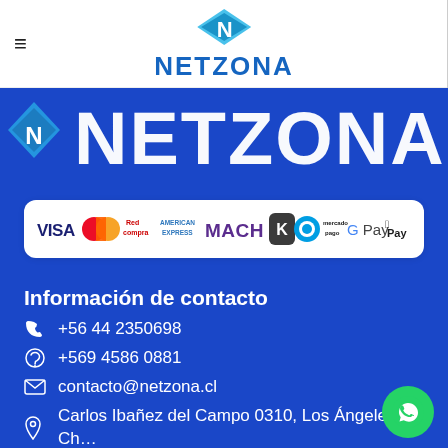[Figure (logo): Netzona logo with blue geometric N icon and NETZONA text in dark blue]
NETZONA
[Figure (infographic): Payment methods strip showing: VISA, Mastercard, Red Compra, American Express, MACH, Klap (K), Mercado Pago, G Pay, Apple Pay]
Información de contacto
+56 44 2350698
+569 4586 0881
contacto@netzona.cl
Carlos Ibañez del Campo 0310, Los Ángeles Chile.